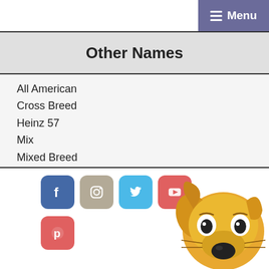Menu
Other Names
All American
Cross Breed
Heinz 57
Mix
Mixed Breed
Mutt
Mix Breed
Pariah dog
Rez dog
Tyke
[Figure (illustration): Social media icons: Facebook (blue), Instagram (tan), Twitter (light blue), YouTube (red/salmon), Pinterest (red/salmon); plus a cartoon dog illustration (golden/yellow dog face)]